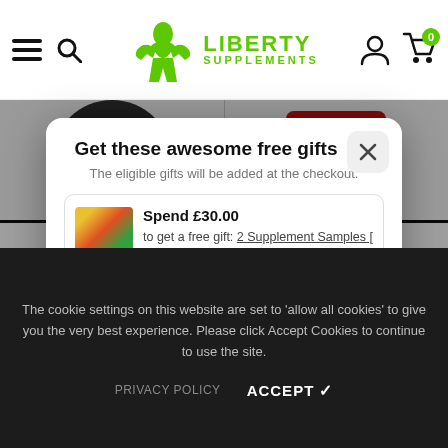Liberty Supplements — navigation header with menu, search, logo, account, and cart icons
[Figure (screenshot): Product thumbnail images partially visible behind modal overlay]
Get these awesome free gifts
The eligible gifts will be added at the checkout.
Spend £30.00 to get a free gift: 2 Supplement Samples [ Protein, Pre-Workout, Mass Gainer, Fat
Have a discount code?
The cookie settings on this website are set to 'allow all cookies' to give you the very best experience. Please click Accept Cookies to continue to use the site.
PRIVACY POLICY   ACCEPT ✓